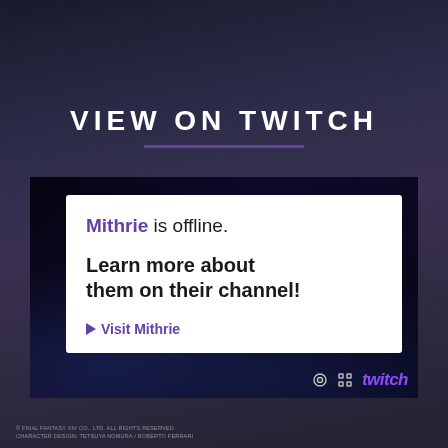VIEW ON TWITCH
[Figure (screenshot): Twitch embedded video player showing offline screen for channel Mithrie, with dark fantasy game background and white offline card]
Mithrie is offline.
Learn more about them on their channel!
▶ Visit Mithrie
© FINALFANTASY XIV CO., LTD. ALL RIGHTS RESERVED. CHARACTER DESIGN: TETSUYA NOMURA / ROBERTO FERRARI